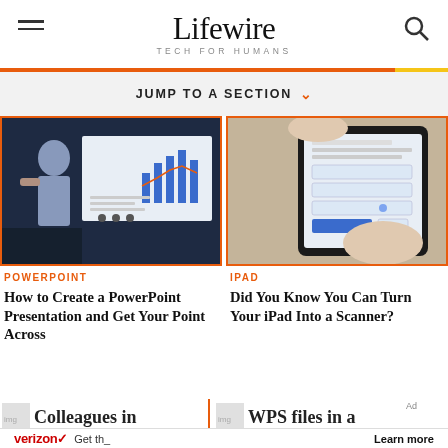Lifewire TECH FOR HUMANS
JUMP TO A SECTION
[Figure (photo): Woman presenting charts on a large display screen in an office environment]
POWERPOINT
How to Create a PowerPoint Presentation and Get Your Point Across
[Figure (photo): Hands holding a tablet/iPad showing a form or document interface]
IPAD
Did You Know You Can Turn Your iPad Into a Scanner?
[Figure (photo): Colleagues in thumbnail image]
[Figure (photo): WPS files in a thumbnail image]
Ad
[Figure (photo): Verizon advertisement banner with Get ... and Learn more text]